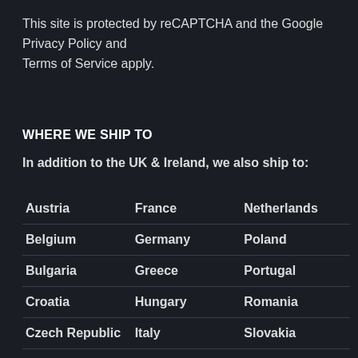This site is protected by reCAPTCHA and the Google Privacy Policy and Terms of Service apply.
WHERE WE SHIP TO
In addition to the UK & Ireland, we also ship to:
|  |  |  |
| --- | --- | --- |
| Austria | France | Netherlands |
| Belgium | Germany | Poland |
| Bulgaria | Greece | Portugal |
| Croatia | Hungary | Romania |
| Czech Republic | Italy | Slovakia |
| Denmark | Lithuania | Slovenia |